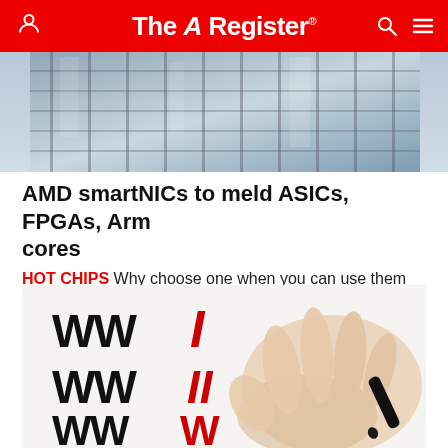The Register
[Figure (photo): Glass office building facade, shot from below]
AMD smartNICs to meld ASICs, FPGAs, Arm cores
HOT CHIPS Why choose one when you can use them all?
NETWORKS   2 days | 7
[Figure (photo): Hand writing WWI, WWII, WWW in black and red marker letters on white background]